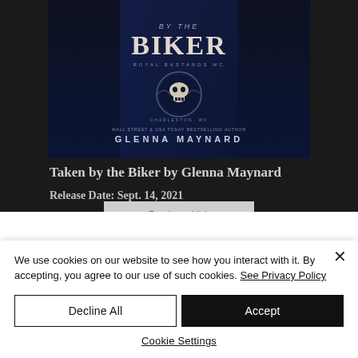[Figure (illustration): Book cover for 'Taken by the Biker' by Glenna Maynard, showing dark blue/navy background with skull emblem and biker themed artwork. Text reads 'BY THE BIKER', 'ROYAL BASTARDS MC', 'CHARLESTON, WV', and 'GLENNA MAYNARD'.]
Taken by the Biker by Glenna Maynard
Release Date: Sept. 14, 2021
Purchase Link
We use cookies on our website to see how you interact with it. By accepting, you agree to our use of such cookies. See Privacy Policy
Decline All
Accept
Cookie Settings